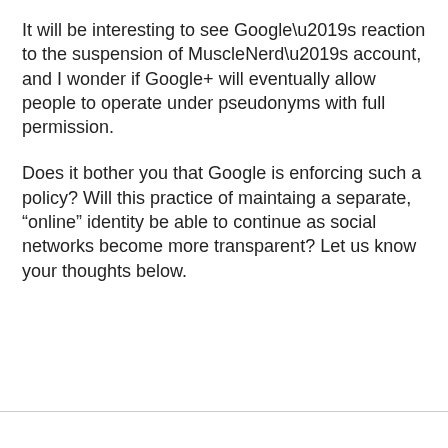It will be interesting to see Google’s reaction to the suspension of MuscleNerd’s account, and I wonder if Google+ will eventually allow people to operate under pseudonyms with full permission.
Does it bother you that Google is enforcing such a policy? Will this practice of maintaing a separate, “online” identity be able to continue as social networks become more transparent? Let us know your thoughts below.